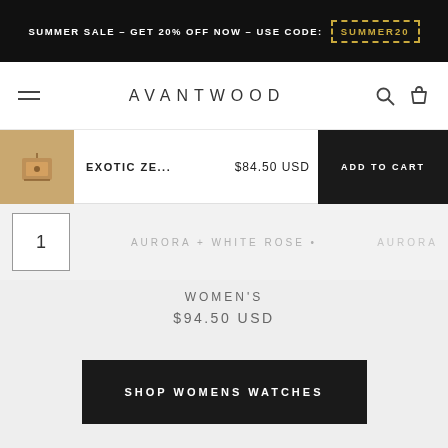SUMMER SALE – GET 20% OFF NOW – USE CODE: SUMMER20
AVANTWOOD
EXOTIC ZE... $84.50 USD ADD TO CART
1
AURORA + WHITE ROSE • AURORA
WOMEN'S
$94.50 USD
SHOP WOMENS WATCHES